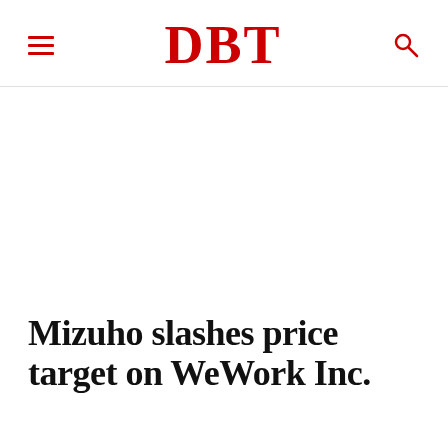DBT
Mizuho slashes price target on WeWork Inc.